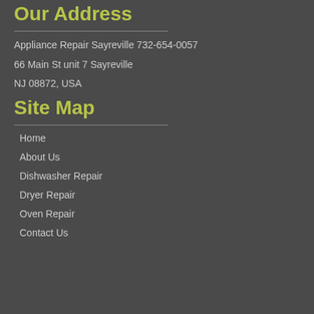Our Address
Appliance Repair Sayreville 732-654-0057
66 Main St unit 7 Sayreville
NJ 08872, USA
Site Map
Home
About Us
Dishwasher Repair
Dryer Repair
Oven Repair
Contact Us